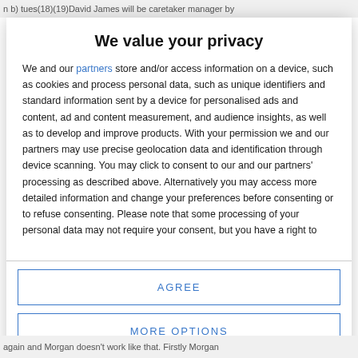n b) tues(18)(19)David James will be caretaker manager by
We value your privacy
We and our partners store and/or access information on a device, such as cookies and process personal data, such as unique identifiers and standard information sent by a device for personalised ads and content, ad and content measurement, and audience insights, as well as to develop and improve products. With your permission we and our partners may use precise geolocation data and identification through device scanning. You may click to consent to our and our partners' processing as described above. Alternatively you may access more detailed information and change your preferences before consenting or to refuse consenting. Please note that some processing of your personal data may not require your consent, but you have a right to
AGREE
MORE OPTIONS
again and Morgan doesn't work like that. Firstly Morgan